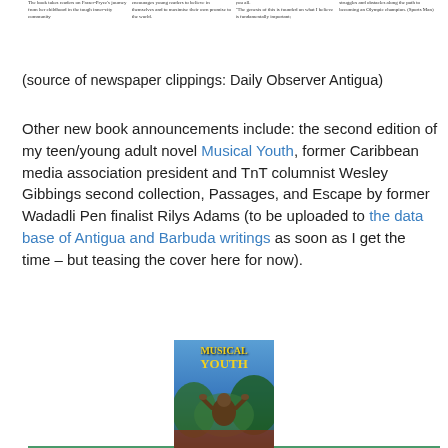[Figure (photo): Newspaper clipping strip showing four columns of small print text, with a green horizontal rule beneath]
(source of newspaper clippings: Daily Observer Antigua)
Other new book announcements include: the second edition of my teen/young adult novel Musical Youth, former Caribbean media association president and TnT columnist Wesley Gibbings second collection, Passages, and Escape by former Wadadli Pen finalist Rilys Adams (to be uploaded to the data base of Antigua and Barbuda writings as soon as I get the time – but teasing the cover here for now).
[Figure (photo): Book cover of Musical Youth showing the title in yellow text on a blue and green background with a figure of a person viewed from behind]